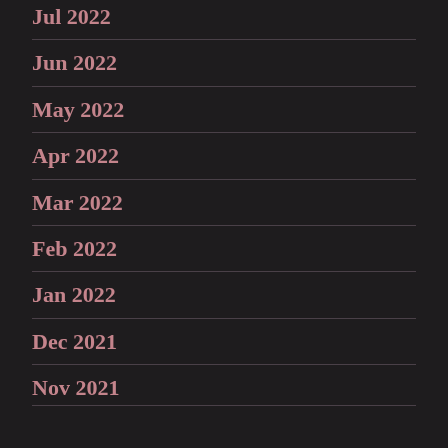Jul 2022
Jun 2022
May 2022
Apr 2022
Mar 2022
Feb 2022
Jan 2022
Dec 2021
Nov 2021